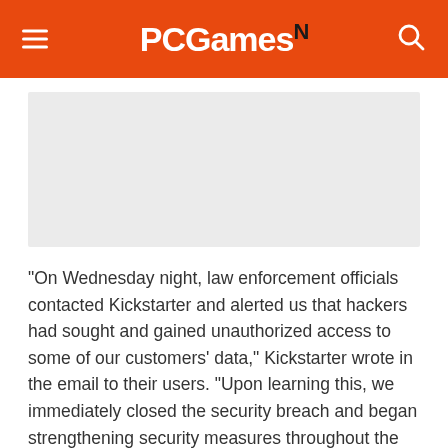PCGamesN
[Figure (other): Gray placeholder image area]
“On Wednesday night, law enforcement officials contacted Kickstarter and alerted us that hackers had sought and gained unauthorized access to some of our customers’ data,” Kickstarter wrote in the email to their users. “Upon learning this, we immediately closed the security breach and began strengthening security measures throughout the Kickstarter system.